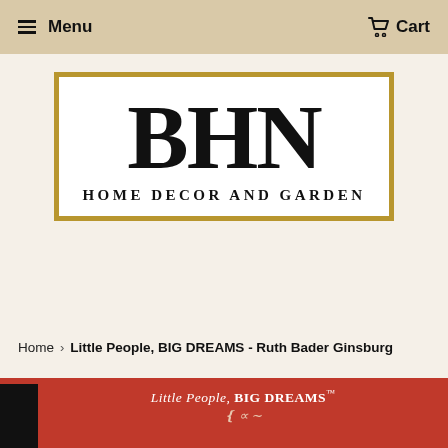Menu   Cart
[Figure (logo): BHN Home Decor and Garden logo — large serif BHN letters with gold border rectangle and subtitle HOME DECOR AND GARDEN]
Home › Little People, BIG DREAMS - Ruth Bader Ginsburg
[Figure (photo): Partial view of Little People, BIG DREAMS book cover featuring Ruth Bader Ginsburg on a red background with black spine]